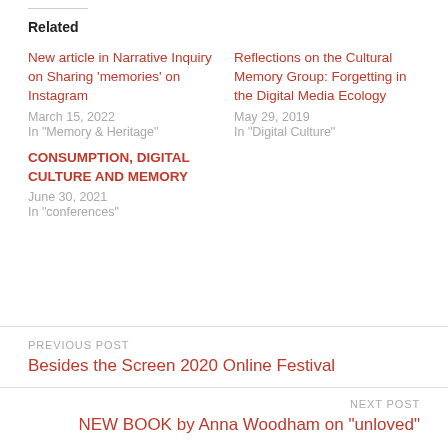Related
New article in Narrative Inquiry on Sharing 'memories' on Instagram
March 15, 2022
In "Memory & Heritage"
Reflections on the Cultural Memory Group: Forgetting in the Digital Media Ecology
May 29, 2019
In "Digital Culture"
CONSUMPTION, DIGITAL CULTURE AND MEMORY
June 30, 2021
In "conferences"
PREVIOUS POST
Besides the Screen 2020 Online Festival
NEXT POST
NEW BOOK by Anna Woodham on "unloved"